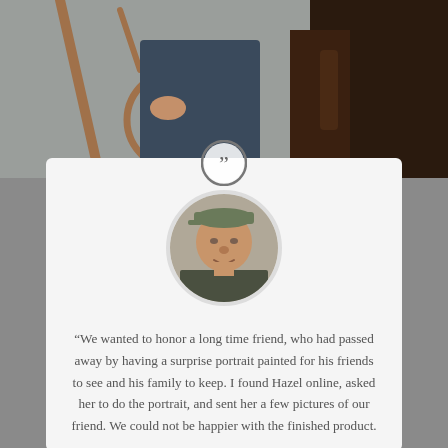[Figure (photo): Top portion of a painting showing a person in a hat holding a lasso/rope and a dark horse, partial view from torso down]
[Figure (photo): Circular portrait photo of an elderly man wearing a cap and jacket, smiling]
“We wanted to honor a long time friend, who had passed away by having a surprise portrait painted for his friends to see and his family to keep. I found Hazel online, asked her to do the portrait, and sent her a few pictures of our friend. We could not be happier with the finished product.